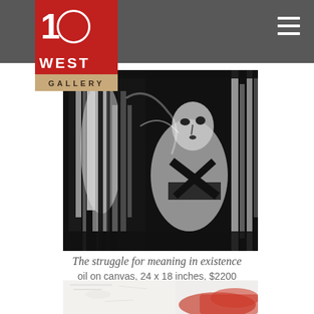10 WEST GALLERY
[Figure (photo): Black and white painting showing a figure with expressive brushwork, abstract human forms with strong contrast]
The struggle for meaning in existence
oil on canvas, 24 x 18 inches, $2200
[Figure (photo): Abstract painting with white and red/coral washes, minimal textural marks]